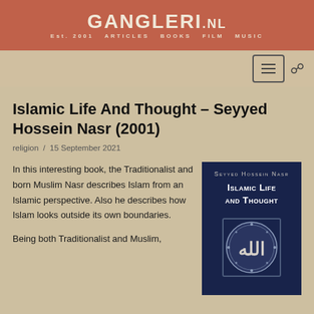GANGLERI.NL Est. 2001 ARTICLES BOOKS FILM MUSIC
Islamic Life And Thought – Seyyed Hossein Nasr (2001)
religion / 15 September 2021
In this interesting book, the Traditionalist and born Muslim Nasr describes Islam from an Islamic perspective. Also he describes how Islam looks outside its own boundaries.
[Figure (illustration): Book cover of 'Islamic Life And Thought' by Seyyed Hossein Nasr. Dark navy background with title in white small-caps text, author name, and decorative Arabic calligraphy ornament at bottom.]
Being both Traditionalist and Muslim,